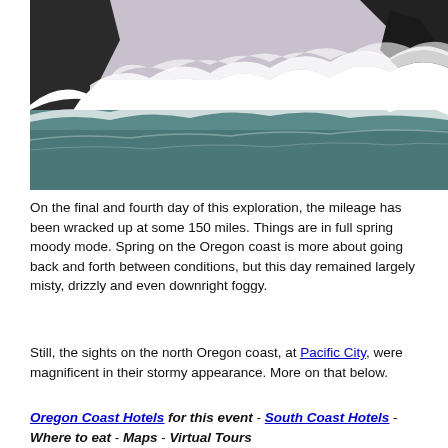[Figure (photo): Ocean waves crashing near rocky sea cliffs on the Oregon coast, with stormy skies and turbulent whitecapped waves in the foreground and dark rock formations in the background.]
On the final and fourth day of this exploration, the mileage has been wracked up at some 150 miles. Things are in full spring moody mode. Spring on the Oregon coast is more about going back and forth between conditions, but this day remained largely misty, drizzly and even downright foggy.
Still, the sights on the north Oregon coast, at Pacific City, were magnificent in their stormy appearance. More on that below.
Oregon Coast Hotels for this event - South Coast Hotels - Where to eat - Maps - Virtual Tours